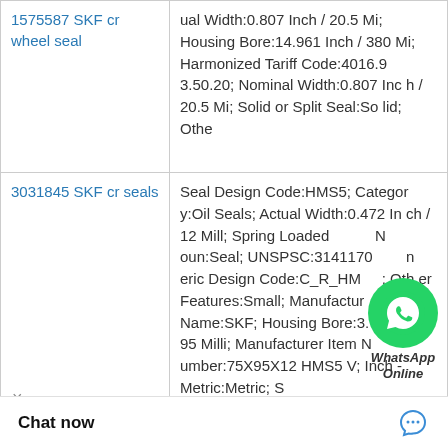| Product | Description |
| --- | --- |
| 1575587 SKF cr wheel seal | ual Width:0.807 Inch / 20.5 Mi; Housing Bore:14.961 Inch / 380 Mi; Harmonized Tariff Code:4016.93.50.20; Nominal Width:0.807 Inch / 20.5 Mi; Solid or Split Seal:Solid; Othe |
| 3031845 SKF cr seals | Seal Design Code:HMS5; Category:Oil Seals; Actual Width:0.472 Inch / 12 Mill; Spring Loaded Noun:Seal; UNSPSC:31411700; Generic Design Code:C_R_HMS5; Other Features:Small; Manufacturer Name:SKF; Housing Bore:3.74 Inch / 95 Milli; Manufacturer Item Number:75X95X12 HMS5 V; Inch - Metric:Metric; S |
|  | Compatible Wear Sleeves:84590; 85222; Lip Type:Straight lip; Inst l:Cover plate; Cons ption:Oil seal, Hea ing All b |
[Figure (other): WhatsApp Online chat bubble overlay with green circle icon and label 'WhatsApp Online']
×
• • •
Chat now